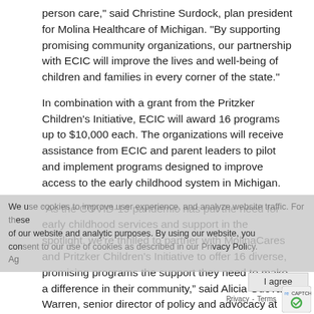person care," said Christine Surdock, plan president for Molina Healthcare of Michigan. "By supporting promising community organizations, our partnership with ECIC will improve the lives and well-being of children and families in every corner of the state."
In combination with a grant from the Pritzker Children's Initiative, ECIC will award 16 programs up to $10,000 each. The organizations will receive assistance from ECIC and parent leaders to pilot and implement programs designed to improve access to the early childhood system in Michigan.
“As the COVID-19 pandemic has put the need for early childhood services and support in the spotlight, we're thrilled to partner with MolinaCares and Pritzker Children's Initiative to offer 16 diverse, promising programs the support they need to make a difference in their community,” said Alicia Guevara Warren, senior director of policy and advocacy at ECIC. “This partnership has truly amplified the impact of this important program and will help countless pregnant women and families with young children access key services like childcare, Medicaid, and more.”
Grant recipients include ACCESS (Arab Community Center